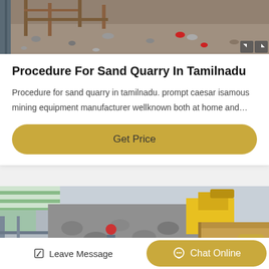[Figure (photo): Top portion of a quarry/construction site with wooden scaffolding structures and red objects on gravel ground. Small navigation arrows visible at bottom right.]
Procedure For Sand Quarry In Tamilnadu
Procedure for sand quarry in tamilnadu. prompt caesar isamous mining equipment manufacturer wellknown both at home and…
Get Price
[Figure (photo): Mining quarry scene with a worker in red hard hat on metal stairs, rocks/gravel being loaded by yellow excavator into metal container/bucket in the foreground.]
Leave Message
Chat Online